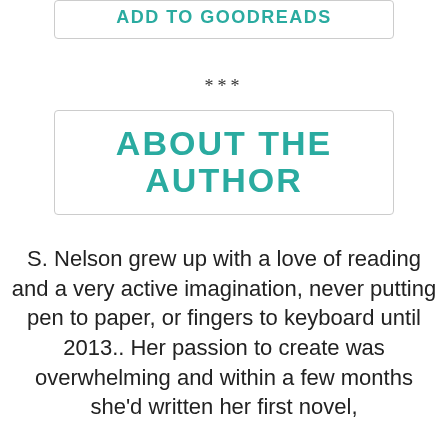[Figure (other): Teal bold 'ADD TO GOODREADS' button in a rounded rectangle box (partially visible at top)]
***
[Figure (other): Teal bold 'ABOUT THE AUTHOR' heading in a rounded rectangle box]
S. Nelson grew up with a love of reading and a very active imagination, never putting pen to paper, or fingers to keyboard until 2013.. Her passion to create was overwhelming and within a few months she'd written her first novel,